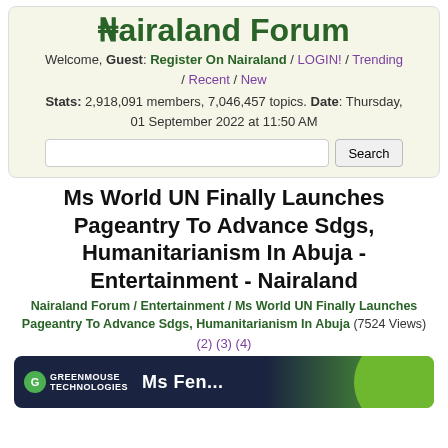Nairaland Forum
Welcome, Guest: Register On Nairaland / LOGIN! / Trending / Recent / New
Stats: 2,918,091 members, 7,046,457 topics. Date: Thursday, 01 September 2022 at 11:50 AM
Ms World UN Finally Launches Pageantry To Advance Sdgs, Humanitarianism In Abuja - Entertainment - Nairaland
Nairaland Forum / Entertainment / Ms World UN Finally Launches Pageantry To Advance Sdgs, Humanitarianism In Abuja (7524 Views)
(2) (3) (4)
[Figure (screenshot): Greenmouse advertisement banner with dark blue and green background]